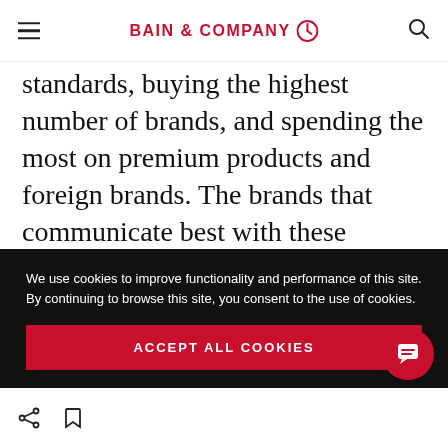BAIN & COMPANY
standards, buying the highest number of brands, and spending the most on premium products and foreign brands. The brands that communicate best with these consumers use key words in marketing relating to specific products, places of origin and ingredients. Insurgent brands that meet their demands for quality are
We use cookies to improve functionality and performance of this site. By continuing to browse this site, you consent to the use of cookies.
ACCEPT ALL COOKIES